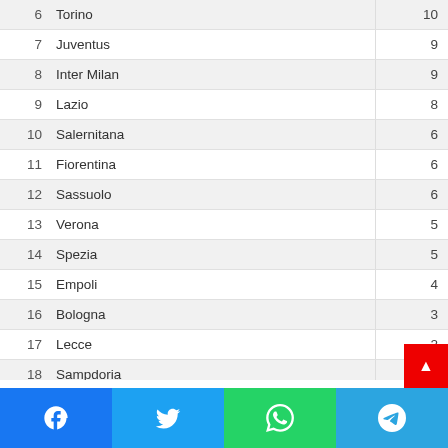| # | Team | Pts |
| --- | --- | --- |
| 6 | Torino | 10 |
| 7 | Juventus | 9 |
| 8 | Inter Milan | 9 |
| 9 | Lazio | 8 |
| 10 | Salernitana | 6 |
| 11 | Fiorentina | 6 |
| 12 | Sassuolo | 6 |
| 13 | Verona | 5 |
| 14 | Spezia | 5 |
| 15 | Empoli | 4 |
| 16 | Bologna | 3 |
| 17 | Lecce | 2 |
| 18 | Sampdoria | 2 |
| 19 | Cremonese | 1 |
| 20 | Monza | 0 |
Social share bar: Facebook, Twitter, WhatsApp, Telegram